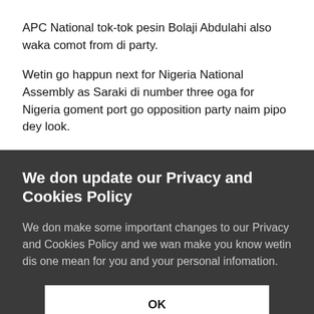APC National tok-tok pesin Bolaji Abdulahi also waka comot from di party.
Wetin go happun next for Nigeria National Assembly as Saraki di number three oga for Nigeria goment port go opposition party naim pipo dey look.
We don update our Privacy and Cookies Policy
We don make some important changes to our Privacy and Cookies Policy and we wan make you know wetin dis one mean for you and your personal infomation.
OK
Find out wetin don change